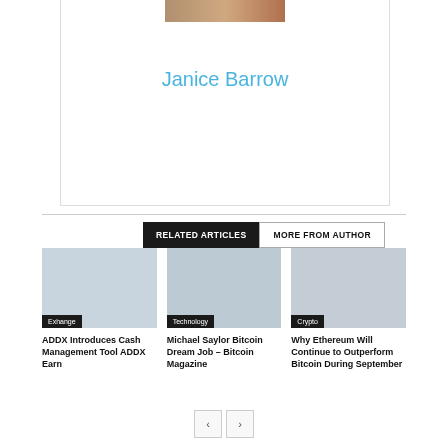[Figure (photo): Author photo of Janice Barrow — cropped profile image at top of author card]
Janice Barrow
RELATED ARTICLES   MORE FROM AUTHOR
[Figure (photo): Article thumbnail image for ADDX Introduces Cash Management Tool ADDX Earn, tagged Exhange]
Exhange
ADDX Introduces Cash Management Tool ADDX Earn
[Figure (photo): Article thumbnail image for Michael Saylor Bitcoin Dream Job – Bitcoin Magazine, tagged Technology]
Technology
Michael Saylor Bitcoin Dream Job – Bitcoin Magazine
[Figure (photo): Article thumbnail image for Why Ethereum Will Continue to Outperform Bitcoin During September, tagged Crypto]
Crypto
Why Ethereum Will Continue to Outperform Bitcoin During September